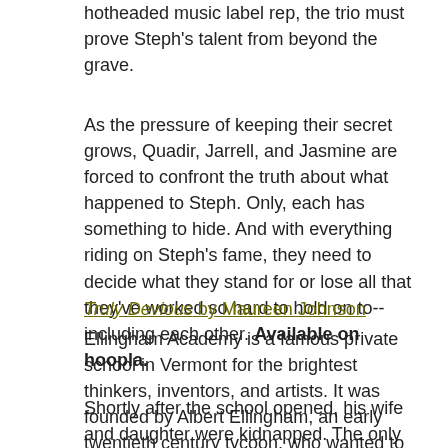hotheaded music label rep, the trio must prove Steph's talent from beyond the grave.
As the pressure of keeping their secret grows, Quadir, Jarrell, and Jasmine are forced to confront the truth about what happened to Steph. Only, each has something to hide. And with everything riding on Steph's fame, they need to decide what they stand for or lose all that they've worked so hard to hold on to--including each other. Available on hoopla.
Truly Devious by Maureen Johnson
Ellingham Academy is a famous private school in Vermont for the brightest thinkers, inventors, and artists. It was founded by Albert Ellingham, an early twentieth century tycoon, who wanted to make a wonderful place full of riddles, twisting pathways, and gardens. "A place," he said, "where learning is a game."
Shortly after the school opened, his wife and daughter were kidnapped. The only real clue was a mocking riddle